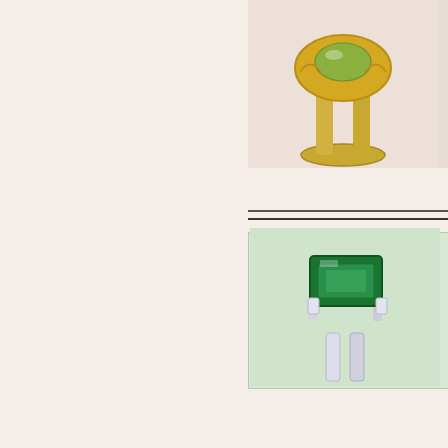[Figure (photo): Gold ring with decorative setting, viewed from the side, partially cropped at top]
[Figure (photo): Cartier emerald and diamond ring with large rectangular green emerald stone set in platinum or white gold band]
Lot 65
Cartier Emerald a
[Figure (photo): Cartier platinum ring with geometric Art Deco style setting, viewed from the side]
Lot 110
Cartier Platinum
[Figure (photo): White gold ring with halo setting, partially cropped at bottom]
Lot 110A
White Gold and T